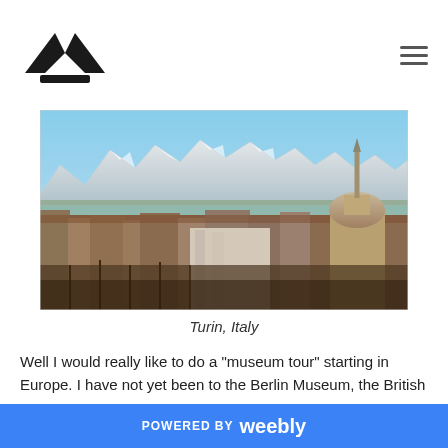Navigation header with logo and hamburger menu
[Figure (photo): Aerial panoramic view of Turin, Italy, showing city skyline with the Mole Antonelliana tower, red-tiled rooftops, and snow-covered Alps in the background]
Turin, Italy
Well I would really like to do a "museum tour" starting in Europe. I have not yet been to the Berlin Museum, the British Museum,
POWERED BY weebly